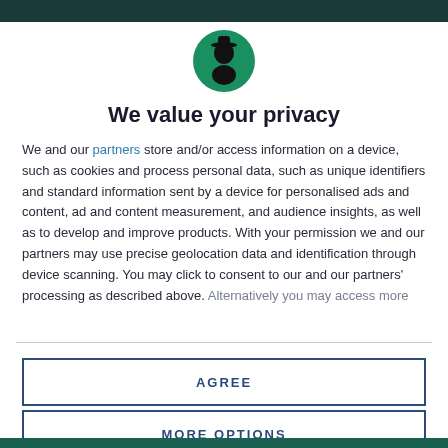[Figure (logo): Circular green logo with a black silhouette of a person wearing a hat (wizard/detective figure)]
We value your privacy
We and our partners store and/or access information on a device, such as cookies and process personal data, such as unique identifiers and standard information sent by a device for personalised ads and content, ad and content measurement, and audience insights, as well as to develop and improve products. With your permission we and our partners may use precise geolocation data and identification through device scanning. You may click to consent to our and our partners' processing as described above. Alternatively you may access more
AGREE
MORE OPTIONS